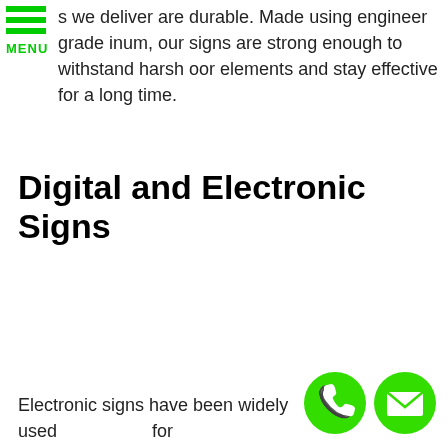[Figure (other): Green hamburger menu icon with three horizontal bars and MENU label]
s we deliver are durable. Made using engineer grade inum, our signs are strong enough to withstand harsh oor elements and stay effective for a long time.
Digital and Electronic Signs
Electronic signs have been widely used in hospitals for
[Figure (other): Green circle phone icon]
[Figure (other): Green circle email/envelope icon]